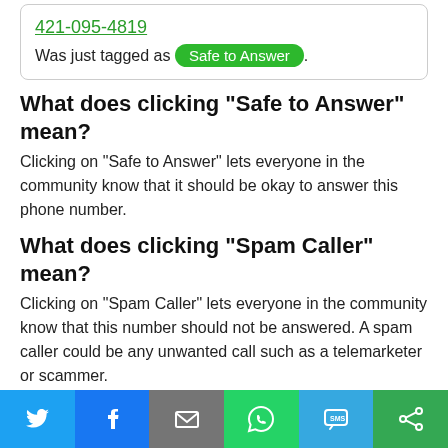[Figure (screenshot): Phone number card: 421-095-4819 was just tagged as Safe to Answer (green badge)]
What does clicking "Safe to Answer" mean?
Clicking on "Safe to Answer" lets everyone in the community know that it should be okay to answer this phone number.
What does clicking "Spam Caller" mean?
Clicking on "Spam Caller" lets everyone in the community know that this number should not be answered. A spam caller could be any unwanted call such as a telemarketer or scammer.
How to Post a Comment?
Simply click here to post a comment. This will bring you to the comment form. Just fill
[Figure (infographic): Social sharing bar with Twitter, Facebook, Email, WhatsApp, SMS, and Share buttons]